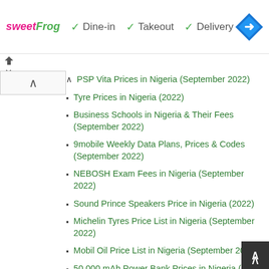[Figure (infographic): sweetFrog ad banner with Dine-in, Takeout, Delivery service options and a navigation arrow icon]
PSP Vita Prices in Nigeria (September 2022)
Tyre Prices in Nigeria (2022)
Business Schools in Nigeria & Their Fees (September 2022)
9mobile Weekly Data Plans, Prices & Codes (September 2022)
NEBOSH Exam Fees in Nigeria (September 2022)
Sound Prince Speakers Price in Nigeria (2022)
Michelin Tyres Price List in Nigeria (September 2022)
Mobil Oil Price List in Nigeria (September 2022)
50,000 mAh Power Bank Prices in Nigeria (2022)
Crunchies Price List (September 2022)
Best Cooking Pot Brands in Nigeria & Prices